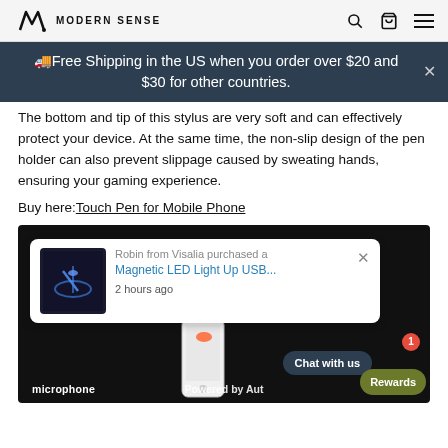MODERN SENSE
🚚Free Shipping in the US when you order over $20 and $30 for other countries.
The bottom and tip of this stylus are very soft and can effectively protect your device. At the same time, the non-slip design of the pen holder can also prevent slippage caused by sweating hands, ensuring your gaming experience.
Buy here: Touch Pen for Mobile Phone
[Figure (screenshot): Screenshot of a product page or app showing a purchase notification popup: 'Robin from Visalia purchased a Magnetic LED Light Up USB...' 2 hours ago, with a product image. Also shows Chat with us button, Rewards button, Powered by Auto label, and microphone label at bottom left.]